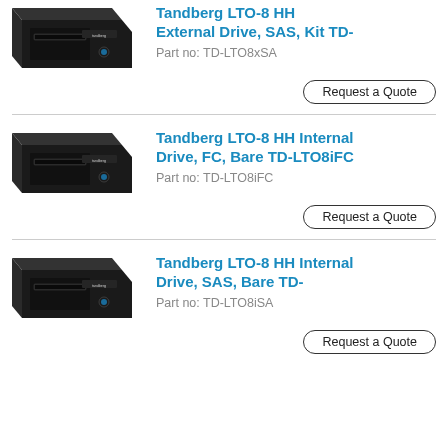[Figure (photo): Tandberg LTO-8 HH External Drive, SAS, Kit TD- product image showing a black tape drive unit]
Tandberg LTO-8 HH External Drive, SAS, Kit TD-
Part no: TD-LTO8xSA
Request a Quote
[Figure (photo): Tandberg LTO-8 HH Internal Drive, FC, Bare TD-LTO8iFC product image showing a black tape drive unit]
Tandberg LTO-8 HH Internal Drive, FC, Bare TD-LTO8iFC
Part no: TD-LTO8iFC
Request a Quote
[Figure (photo): Tandberg LTO-8 HH Internal Drive, SAS, Bare TD- product image showing a black tape drive unit]
Tandberg LTO-8 HH Internal Drive, SAS, Bare TD-
Part no: TD-LTO8iSA
Request a Quote